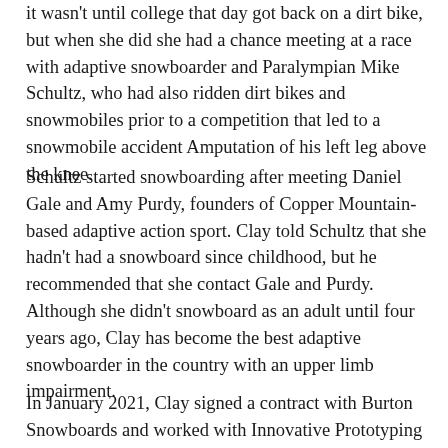it wasn't until college that day got back on a dirt bike, but when she did she had a chance meeting at a race with adaptive snowboarder and Paralympian Mike Schultz, who had also ridden dirt bikes and snowmobiles prior to a competition that led to a snowmobile accident Amputation of his left leg above the knee.
Schultz started snowboarding after meeting Daniel Gale and Amy Purdy, founders of Copper Mountain-based adaptive action sport. Clay told Schultz that she hadn't had a snowboard since childhood, but he recommended that she contact Gale and Purdy.
Although she didn't snowboard as an adult until four years ago, Clay has become the best adaptive snowboarder in the country with an upper limb impairment.
In January 2021, Clay signed a contract with Burton Snowboards and worked with Innovative Prototyping Engineer Chris Doyle and the Rapid Prototyping Team to provide real-world feedback on